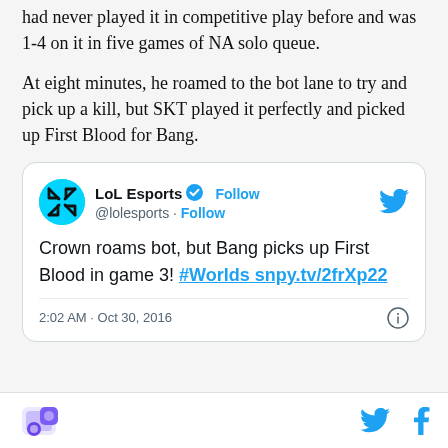had never played it in competitive play before and was 1-4 on it in five games of NA solo queue.
At eight minutes, he roamed to the bot lane to try and pick up a kill, but SKT played it perfectly and picked up First Blood for Bang.
[Figure (screenshot): Embedded tweet from LoL Esports (@lolesports) with verified badge and Follow button. Tweet text: 'Crown roams bot, but Bang picks up First Blood in game 3! #Worlds snpy.tv/2frXp22'. Timestamp: 2:02 AM · Oct 30, 2016.]